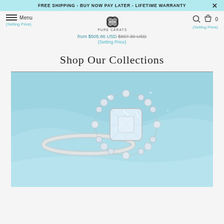FREE SHIPPING - BUY NOW PAY LATER - LIFETIME WARRANTY
[Figure (logo): Pure Carats four-leaf clover logo with text PURE CARATS]
(Setting Price)
from $505.86 USD $897.30 USD (Setting Price)
(Setting Price)
Shop Our Collections
[Figure (photo): Diamond halo engagement ring with large cushion-cut center stone on light blue fabric background]